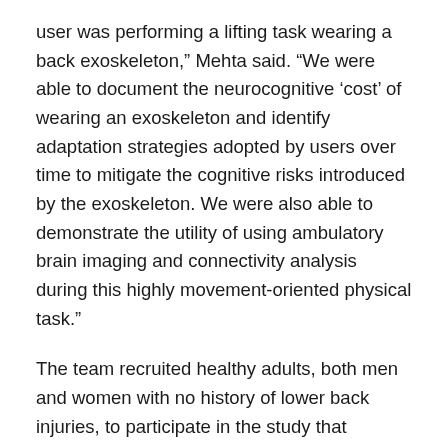user was performing a lifting task wearing a back exoskeleton,” Mehta said. “We were able to document the neurocognitive ‘cost’ of wearing an exoskeleton and identify adaptation strategies adopted by users over time to mitigate the cognitive risks introduced by the exoskeleton. We were also able to demonstrate the utility of using ambulatory brain imaging and connectivity analysis during this highly movement-oriented physical task.”
The team recruited healthy adults, both men and women with no history of lower back injuries, to participate in the study that required extensive lifting, both with and without the help of a low back exoskeleton.